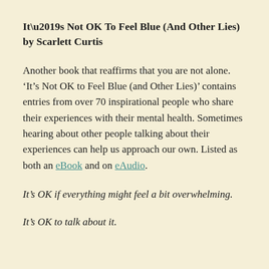It’s Not OK To Feel Blue (And Other Lies) by Scarlett Curtis
Another book that reaffirms that you are not alone. ‘It’s Not OK to Feel Blue (and Other Lies)’ contains entries from over 70 inspirational people who share their experiences with their mental health. Sometimes hearing about other people talking about their experiences can help us approach our own. Listed as both an eBook and on eAudio.
It’s OK if everything might feel a bit overwhelming.
It’s OK to talk about it.